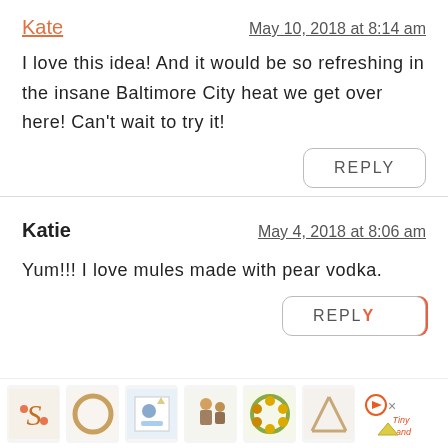Kate
May 10, 2018 at 8:14 am
I love this idea! And it would be so refreshing in the insane Baltimore City heat we get over here! Can't wait to try it!
REPLY
Katie
May 4, 2018 at 8:06 am
Yum!!! I love mules made with pear vodka.
REPLY
[Figure (photo): Advertisement bar at bottom with product thumbnails: decorative letter S, wooden hoop, children's art print, toy figurines, sunflower wreath, wooden triangle stand, and Tiny Land logo]